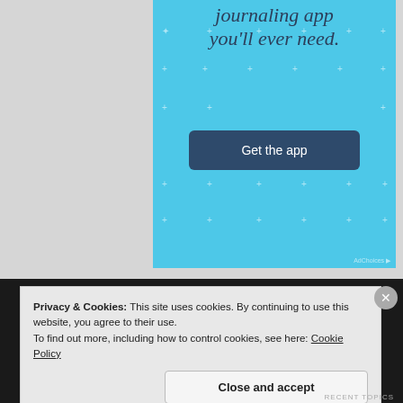[Figure (screenshot): A light blue advertisement banner with sparkle star pattern, showing partial text 'journaling app you'll ever need.' and a dark blue 'Get the app' button. Set against a light grey page background.]
Privacy & Cookies: This site uses cookies. By continuing to use this website, you agree to their use.
To find out more, including how to control cookies, see here: Cookie Policy
Close and accept